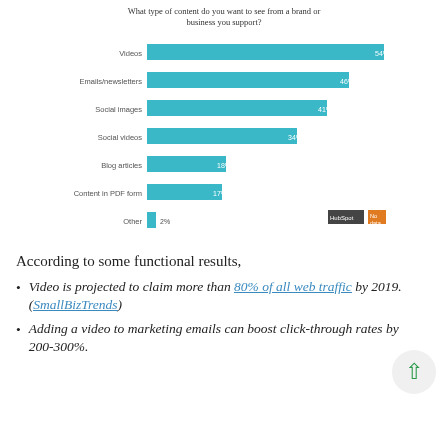[Figure (bar-chart): What type of content do you want to see from a brand or business you support?]
According to some functional results,
Video is projected to claim more than 80% of all web traffic by 2019. (SmallBizTrends)
Adding a video to marketing emails can boost click-through rates by 200-300%.